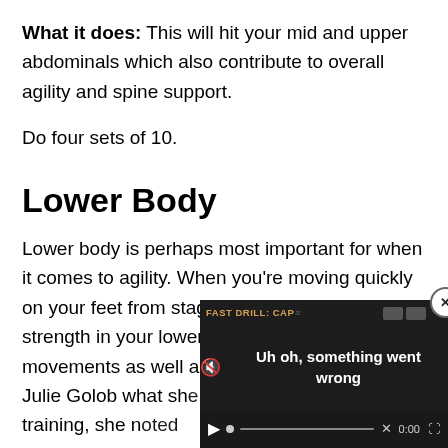What it does: This will hit your mid and upper abdominals which also contribute to overall agility and spine support.
Do four sets of 10.
Lower Body
Lower body is perhaps most important for when it comes to agility. When you're moving quickly on your feet from stage to stage, having strength in your lower body will help s... movements as well as pre... asked Julie Golob what sh... when she is training, she n...
[Figure (screenshot): Video player overlay with error message 'FAST DRILL: CAP... Uh oh, Something went wrong' and playback controls showing 0:00]